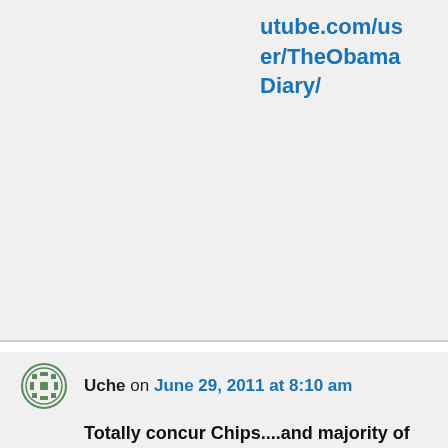utube.com/user/TheObamaDiary/
Uche on June 29, 2011 at 8:10 am
Totally concur Chips....and majority of Americans are on to their game-plan. NY 26 should be the reason why we can't drop using Ryan's plan as a political bludgeon from now until Nov. elections.